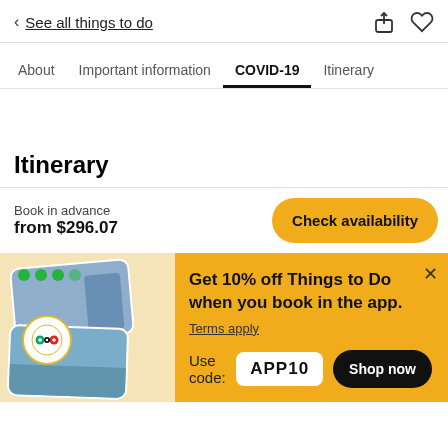< See all things to do
About  Important information  COVID-19  Itinerary
Itinerary
Book in advance
from $296.07
Check availability
[Figure (screenshot): Promotional banner with stacked travel photos, TripAdvisor badge, green dots]
Get 10% off Things to Do when you book in the app.
Terms apply
Use code: APP10
Shop now